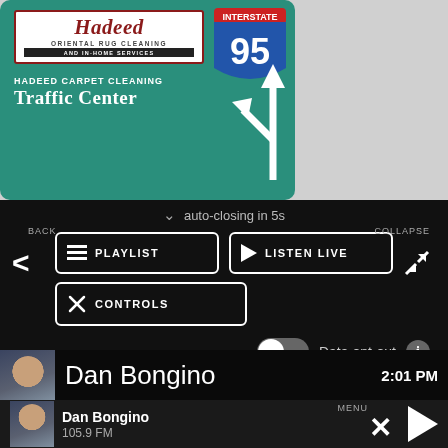[Figure (screenshot): Hadeed Oriental Rug Cleaning and In-Home Services advertisement with green highway-style sign reading 'Hadeed Carpet Cleaning Traffic Center' with Interstate 95 shield and directional arrows]
auto-closing in 5s
BACK
COLLAPSE
PLAYLIST
LISTEN LIVE
CONTROLS
Data opt-out
Dan Bongino
2:01 PM
Dan Bongino
105.9 FM
MENU